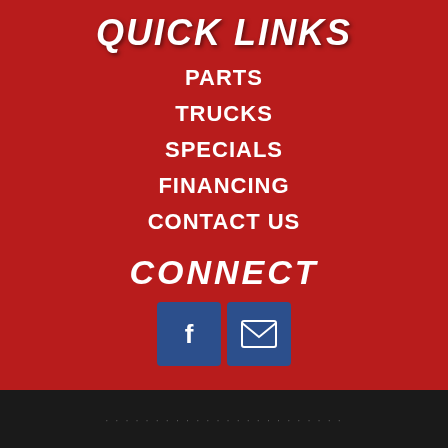QUICK LINKS
PARTS
TRUCKS
SPECIALS
FINANCING
CONTACT US
CONNECT
[Figure (logo): Facebook icon blue square button]
[Figure (logo): Email/envelope icon blue square button]
[Figure (logo): TrailerCentral.com logo with swoosh graphic]
TWIN CITIES FEATHERLITE TRAILERS